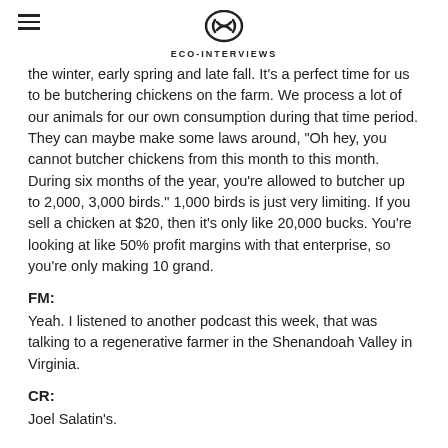THE ECO-INTERVIEWS
the winter, early spring and late fall. It's a perfect time for us to be butchering chickens on the farm. We process a lot of our animals for our own consumption during that time period. They can maybe make some laws around, "Oh hey, you cannot butcher chickens from this month to this month. During six months of the year, you're allowed to butcher up to 2,000, 3,000 birds." 1,000 birds is just very limiting. If you sell a chicken at $20, then it's only like 20,000 bucks. You're looking at like 50% profit margins with that enterprise, so you're only making 10 grand.
FM:
Yeah. I listened to another podcast this week, that was talking to a regenerative farmer in the Shenandoah Valley in Virginia.
CR:
Joel Salatin's.